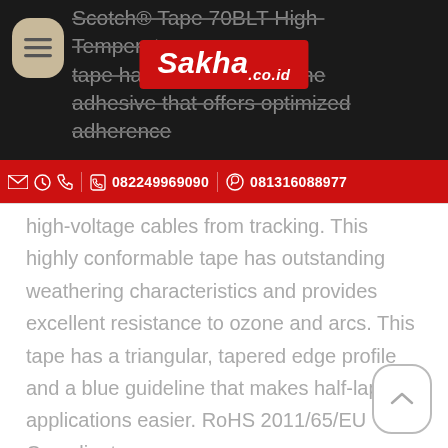[Figure (screenshot): Mobile website header for Sakha.co.id with black background, product description text in gray with strikethrough, hamburger menu button, Sakha logo in red box, and red contact bar with phone numbers]
Scotch® Tape 70 BLT High-Temperature tape has inorganic, silicone adhesive that offers optimized adherence
082249969090   081316088977
high-voltage cables from tracking. This highly conformable tape has outstanding weathering characteristics and provides excellent resistance to ozone and arcs. This tape has a triangular, tapered edge profile and a blue guideline that makes half-lapping applications easier. RoHS 2011/65/EU Compliant.